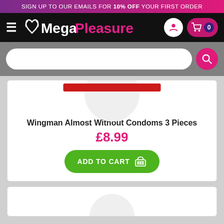SIGN UP TO OUR EMAILS FOR 10% OFF YOUR FIRST ORDER
[Figure (logo): MegaPleasure website header with hamburger menu, logo, user icon, and cart icon showing 0 items]
[Figure (screenshot): Grey search bar area with white rounded search input and pink circular search button]
Wingman Almost Without Condoms 3 Pieces
£8.99
ADD TO CART